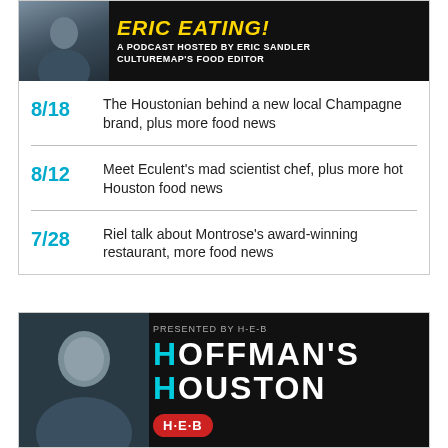[Figure (illustration): Podcast banner with photo of Eric Sandler and yellow 'ERIC EATING' title text on dark background. Subtitle: A PODCAST HOSTED BY ERIC SANDLER CULTUREMAP'S FOOD EDITOR]
8/18 The Houstonian behind a new local Champagne brand, plus more food news
8/12 Meet Eculent's mad scientist chef, plus more hot Houston food news
7/28 Riel talk about Montrose's award-winning restaurant, more food news
[Figure (illustration): Hoffman's Houston podcast banner. PRESENTED BY H-E-B. Large text: HOFFMAN'S HOUSTON. H-E-B logo badge. Black and white photo of man on left.]